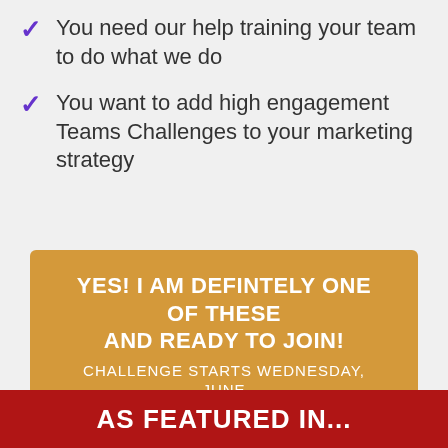You need our help training your team to do what we do
You want to add high engagement Teams Challenges to your marketing strategy
YES! I AM DEFINTELY ONE OF THESE AND READY TO JOIN!
CHALLENGE STARTS WEDNESDAY, JUNE 22ND
AS FEATURED IN...